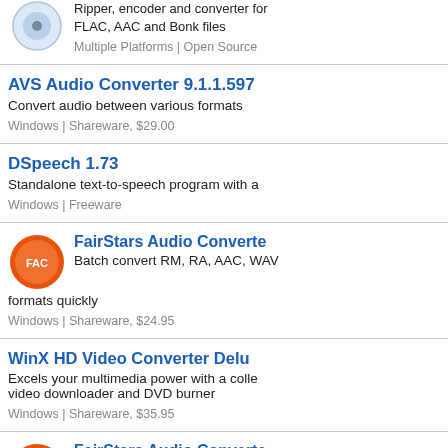Ripper, encoder and converter for FLAC, AAC and Bonk files | Multiple Platforms | Open Source
AVS Audio Converter 9.1.1.597 — Convert audio between various formats | Windows | Shareware, $29.00
DSpeech 1.73 — Standalone text-to-speech program with a... | Windows | Freeware
FairStars Audio Converter — Batch convert RM, RA, AAC, WAV... formats quickly | Windows | Shareware, $24.95
WinX HD Video Converter Delux... — Excels your multimedia power with a colle... video downloader and DVD burner | Windows | Shareware, $35.95
FairStars Audio Converte...